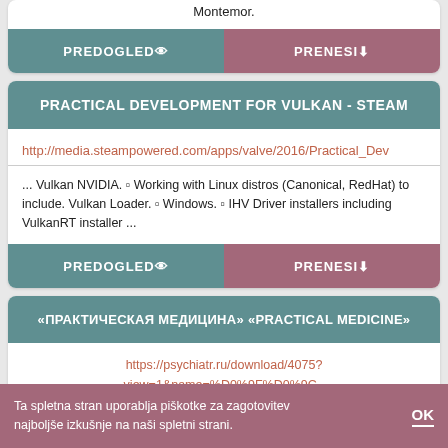Montemor.
PREDOGLED   PRENESI
PRACTICAL DEVELOPMENT FOR VULKAN - STEAM
http://media.steampowered.com/apps/valve/2016/Practical_Dev
... Vulkan NVIDIA. ▫ Working with Linux distros (Canonical, RedHat) to include. Vulkan Loader. ▫ Windows. ▫ IHV Driver installers including VulkanRT installer ...
PREDOGLED   PRENESI
«ПРАКТИЧЕСКАЯ МЕДИЦИНА» «PRACTICAL MEDICINE»
https://psychiatr.ru/download/4075?view=1&name=%D0%9F%D0%9C-%D0%9F%D1%81%D0%B8%D1%85%D0%B8%D0%B0%D1%8...
Ta spletna stran uporablja piškotke za zagotovitev najboljše izkušnje na naši spletni strani.   OK